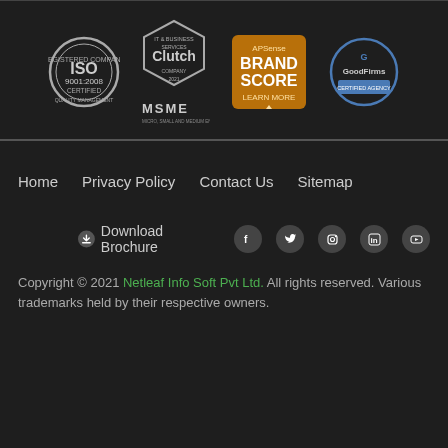[Figure (logo): Four certification/award badges: ISO 9001:2008 Certified, Clutch Top Company badge, APSense Brand Score Learn More, GoodFirms badge. Below Clutch badge is a MSME logo.]
Home
Privacy Policy
Contact Us
Sitemap
Download Brochure
Copyright © 2021 Netleaf Info Soft Pvt Ltd. All rights reserved. Various trademarks held by their respective owners.